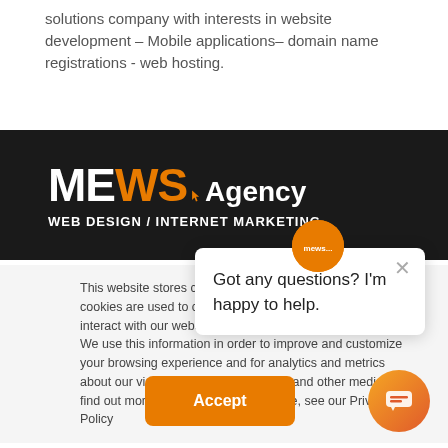solutions company with interests in website development – Mobile applications– domain name registrations - web hosting.
[Figure (logo): MEWS Agency logo — white and orange bold text on dark background with tagline WEB DESIGN / INTERNET MARKETING]
This website stores cookies on your computer. These cookies are used to collect information about how you interact with our website and allow us to remember you. We use this information in order to improve and customize your browsing experience and for analytics and metrics about our visitors both on this website and other media. To find out more about the cookies we use, see our Privacy Policy
Got any questions? I'm happy to help.
Accept